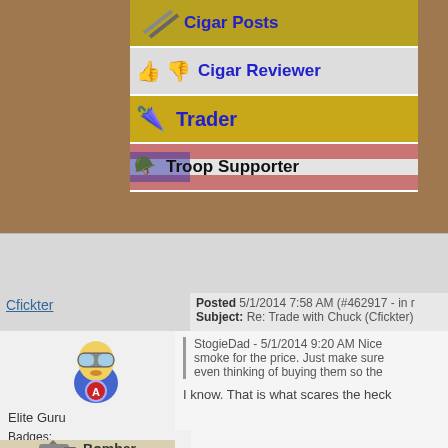[Figure (screenshot): Forum profile sidebar with badges: Cigar Posts, Cigar Reviewer, Trader, Troop Supporter]
Cfickter
Posted 5/1/2014 7:58 AM (#462917 - in r
Subject: Re: Trade with Chuck (Cfickter)
[Figure (illustration): Minion dressed as Captain America avatar]
Elite Guru
Joined: 3/31/2012
Posts: 14044
Points: 20479
Feedback Rating: 264
Location: At the Confluence
Badges:
Bomber
StogieDad - 5/1/2014 9:20 AM Nice smoke for the price. Just make sure even thinking of buying them so the
I know. That is what scares the heck